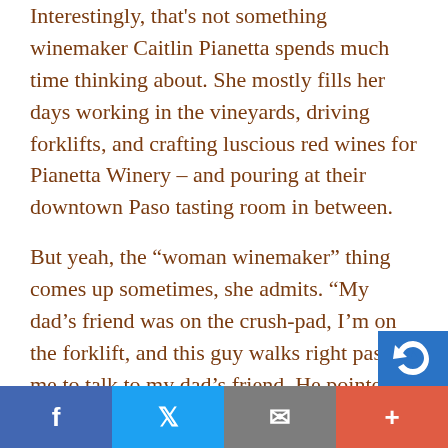Interestingly, that's not something winemaker Caitlin Pianetta spends much time thinking about. She mostly fills her days working in the vineyards, driving forklifts, and crafting luscious red wines for Pianetta Winery – and pouring at their downtown Paso tasting room in between.
But yeah, the “woman winemaker” thing comes up sometimes, she admits. “My dad’s friend was on the crush-pad, I’m on the forklift, and this guy walks right past me to talk to my dad’s friend. He pointed at me and
Facebook | Twitter | Email | +